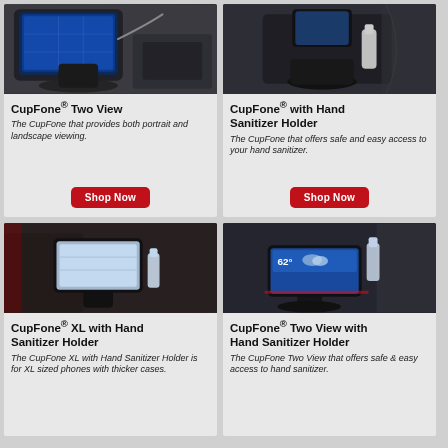[Figure (photo): CupFone Two View product photo showing phone mounted in car cup holder]
CupFone® Two View
The CupFone that provides both portrait and landscape viewing.
[Figure (photo): CupFone with Hand Sanitizer Holder product photo in car cup holder]
CupFone® with Hand Sanitizer Holder
The CupFone that offers safe and easy access to your hand sanitizer.
[Figure (photo): CupFone XL with Hand Sanitizer Holder product photo in car]
CupFone® XL with Hand Sanitizer Holder
The CupFone XL with Hand Sanitizer Holder is for XL sized phones with thicker cases.
[Figure (photo): CupFone Two View with Hand Sanitizer Holder product photo in car]
CupFone® Two View with Hand Sanitizer Holder
The CupFone Two View that offers safe & easy access to hand sanitizer.